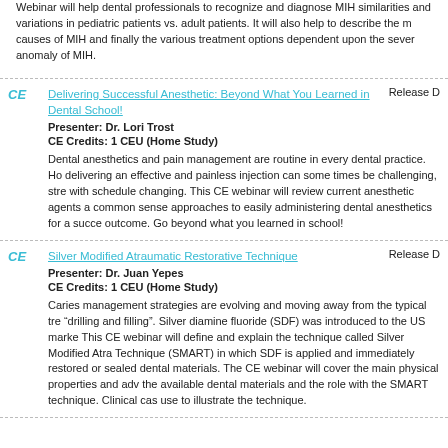Webinar will help dental professionals to recognize and diagnose MIH similarities and variations in pediatric patients vs. adult patients. It will also help to describe the main causes of MIH and finally the various treatment options dependent upon the severity of the anomaly of MIH.
Delivering Successful Anesthetic: Beyond What You Learned in Dental School! Presenter: Dr. Lori Trost CE Credits: 1 CEU (Home Study) Release D...
Dental anesthetics and pain management are routine in every dental practice. However, delivering an effective and painless injection can some times be challenging, stressful with schedule changing. This CE webinar will review current anesthetic agents and common sense approaches to easily administering dental anesthetics for a successful outcome. Go beyond what you learned in school!
Silver Modified Atraumatic Restorative Technique Presenter: Dr. Juan Yepes CE Credits: 1 CEU (Home Study) Release D...
Caries management strategies are evolving and moving away from the typical treatment "drilling and filling". Silver diamine fluoride (SDF) was introduced to the US market. This CE webinar will define and explain the technique called Silver Modified Atraumatic Technique (SMART) in which SDF is applied and immediately restored or sealed with dental materials. The CE webinar will cover the main physical properties and advantages of the available dental materials and the role with the SMART technique. Clinical cases were use to illustrate the technique.